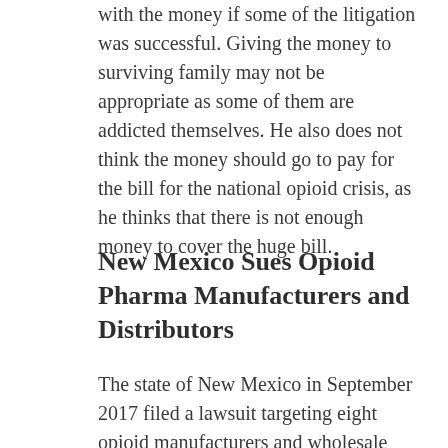with the money if some of the litigation was successful. Giving the money to surviving family may not be appropriate as some of them are addicted themselves. He also does not think the money should go to pay for the bill for the national opioid crisis, as he thinks that there is not enough money to cover the huge bill.
New Mexico Sues Opioid Pharma Manufacturers and Distributors
The state of New Mexico in September 2017 filed a lawsuit targeting eight opioid manufacturers and wholesale distributors.